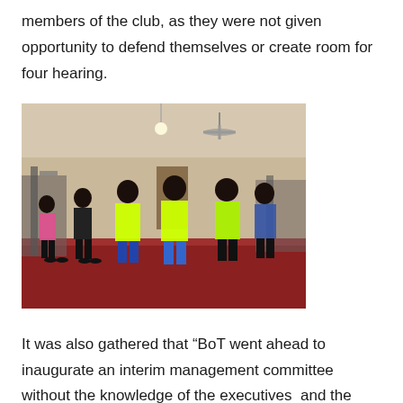members of the club, as they were not given opportunity to defend themselves or create room for four hearing.
[Figure (photo): Indoor gym/fitness class scene with multiple people in workout attire. Several participants wearing neon yellow/green shirts are visible from behind. The room has a red floor, white walls, ceiling fans, and gym equipment in the background.]
It was also gathered that “BoT went ahead to inaugurate an interim management committee without the knowledge of the executives and the general house.